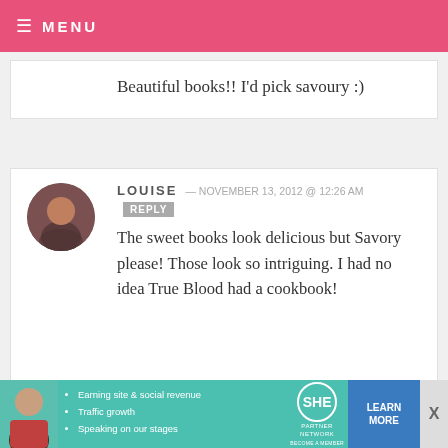MENU
Beautiful books!! I'd pick savoury :)
LOUISE — NOVEMBER 13, 2012 @ 12:26 AM REPLY
The sweet books look delicious but Savory please! Those look so intriguing. I had no idea True Blood had a cookbook!
ERICA ZIEBARTH — NOVEMBER 13, 2012 @
[Figure (infographic): SHE Partner Network ad banner with photo, bullet points, logo, and learn more button]